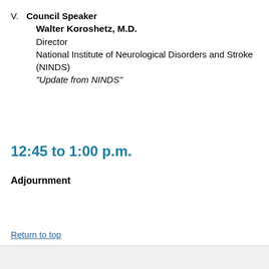V. Council Speaker
Walter Koroshetz, M.D.
Director
National Institute of Neurological Disorders and Stroke (NINDS)
"Update from NINDS"
12:45 to 1:00 p.m.
Adjournment
Return to top